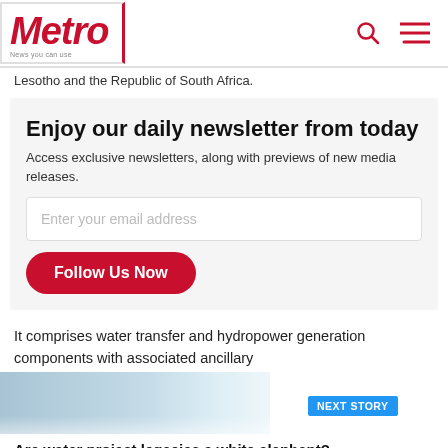Metro — News you can use
Lesotho and the Republic of South Africa.
Enjoy our daily newsletter from today
Access exclusive newsletters, along with previews of new media releases.
Enter your email address
Follow Us Now
It comprises water transfer and hydropower generation components with associated ancillary
NEXT STORY
Are water project legacies a white elephant?
Editor